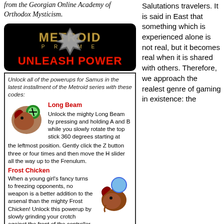from the Georgian Online Academy of Orthodox Mysticism.
[Figure (screenshot): Metroid Prime 'Unleash Power' game advertisement banner with black background, Metroid Prime logo and red text 'UNLEASH POWER']
Unlock all of the powerups for Samus in the latest installment of the Metroid series with these codes:
Long Beam
Unlock the mighty Long Beam by pressing and holding A and B while you slowly rotate the top stick 360 degrees starting at the leftmost position. Gently click the Z button three or four times and then move the H slider all the way up to the Frenulum.
Frost Chicken
When a young girl's fancy turns to freezing opponents, no weapon is a better addition to the arsenal than the mighty Frost Chicken! Unlock this powerup by slowly grinding your crotch against the front of the controller until you feel it vibrate and you hear Samus shout, "Great Gorgons, Gordon!" At that point a short animation featuring a chicken preacher will begin playing. Turn off your TV
Salutations travelers. It is said in East that something which is experienced alone is not real, but it becomes real when it is shared with others. Therefore, we approach the realest genre of gaming in existence: the